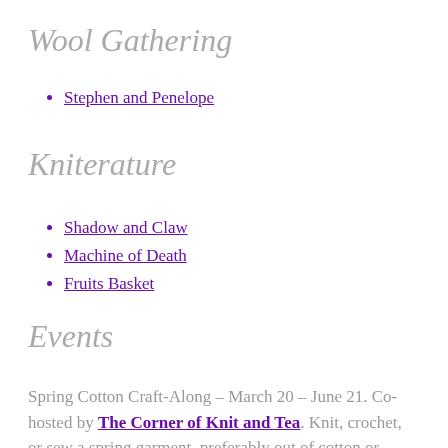Wool Gathering
Stephen and Penelope
Kniterature
Shadow and Claw
Machine of Death
Fruits Basket
Events
Spring Cotton Craft-Along – March 20 – June 21. Co-hosted by The Corner of Knit and Tea. Knit, crochet, or sew a spring garment, preferably out of cotton or linen.